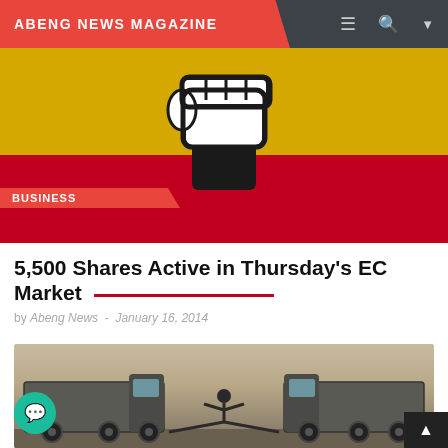ABENG NEWS MAGAZINE
[Figure (illustration): Uganda flag colors (yellow and red) background with a black and white raised fist logo. Business category tag in red.]
5,500 Shares Active in Thursday's EC Market
by Abeng News - January 16, 2014
[Figure (photo): Two large trucks facing each other with a person standing between them doing a split, viewed from below against a grey sky background.]